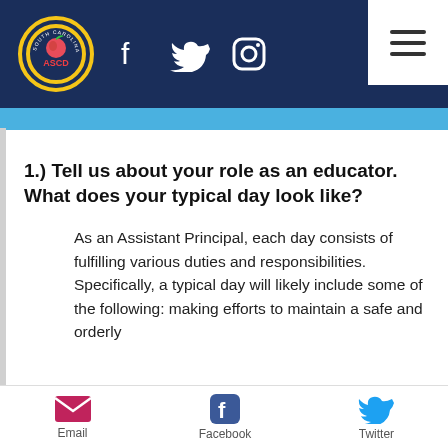[Figure (screenshot): South Carolina ASCD logo — circular badge with yellow border, red ASCO text, on dark navy background]
[Figure (screenshot): Navigation bar with Facebook, Twitter, Instagram social icons and hamburger menu on navy background]
1.) Tell us about your role as an educator. What does your typical day look like?
As an Assistant Principal, each day consists of fulfilling various duties and responsibilities. Specifically, a typical day will likely include some of the following: making efforts to maintain a safe and orderly
[Figure (screenshot): Bottom share bar with Email (envelope icon), Facebook (f icon), and Twitter (bird icon) buttons]